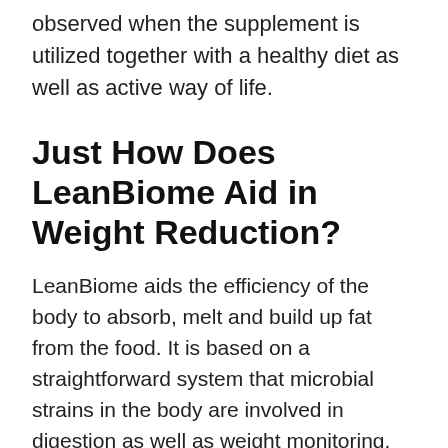observed when the supplement is utilized together with a healthy diet as well as active way of life.
Just How Does LeanBiome Aid in Weight Reduction?
LeanBiome aids the efficiency of the body to absorb, melt and build up fat from the food. It is based on a straightforward system that microbial strains in the body are involved in digestion as well as weight monitoring. Diet regimen tablets are usually regarded as risky as well as risky, which holds true when you are picking an artificial item. If you are utilizing an all-natural product, there are minimal threats entailed, us leanbiome as well as they are much better than any trending diet tablets